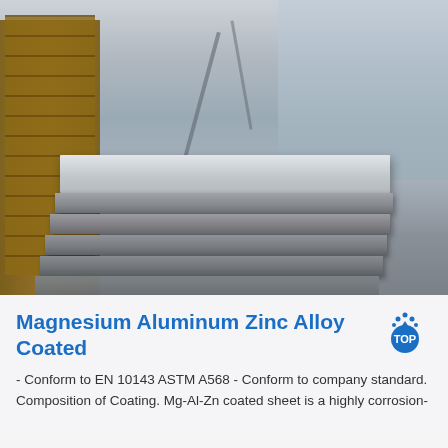[Figure (photo): Stacked Magnesium Aluminum Zinc Alloy coated metal sheets in an industrial warehouse, with wooden pallets visible on the left side and warehouse interior in the background.]
Magnesium Aluminum Zinc Alloy Coated Steel
- Conform to EN 10143 ASTM A568 - Conform to company standard. Composition of Coating. Mg-Al-Zn coated sheet is a highly corrosion-